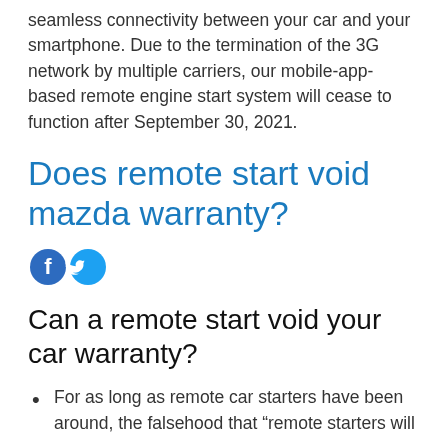seamless connectivity between your car and your smartphone. Due to the termination of the 3G network by multiple carriers, our mobile-app-based remote engine start system will cease to function after September 30, 2021.
Does remote start void mazda warranty?
[Figure (other): Facebook and Twitter social sharing icons]
Can a remote start void your car warranty?
For as long as remote car starters have been around, the falsehood that “remote starters will